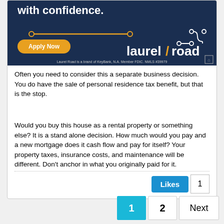[Figure (illustration): Laurel Road advertisement banner with dark navy background. Shows 'with confidence.' text in white bold letters, a yellow/orange horizontal line with dots, an 'Apply Now' button in orange/yellow, and the 'laurel road' logo in white with an orange slash and a stylized road path graphic. Footer text: 'Laurel Road is a brand of KeyBank, N.A. Member FDIC. NMLS #39979' with Equal Housing Lender logo.]
Often you need to consider this a separate business decision. You do have the sale of personal residence tax benefit, but that is the stop.
Would you buy this house as a rental property or something else? It is a stand alone decision. How much would you pay and a new mortgage does it cash flow and pay for itself? Your property taxes, insurance costs, and maintenance will be different. Don't anchor in what you originally paid for it.
Likes  1   1  2  Next